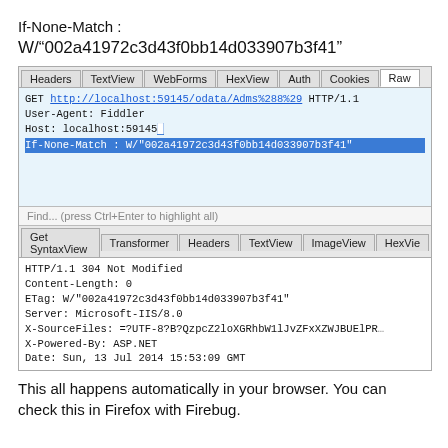If-None-Match : W/"002a41972c3d43f0bb14d033907b3f41"
[Figure (screenshot): Fiddler HTTP inspector screenshot showing a GET request with If-None-Match header selected (highlighted in blue), and a response pane showing HTTP/1.1 304 Not Modified with ETag and other headers. Tabs visible: Headers, TextView, WebForms, HexView, Auth, Cookies, Raw (top); Get SyntaxView, Transformer, Headers, TextView, ImageView, HexVie (bottom).]
This all happens automatically in your browser. You can check this in Firefox with Firebug.